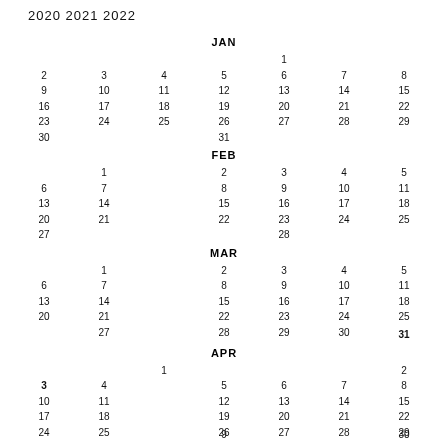2020 2021 2022
JAN
| Sun | Mon | Tue | Wed | Thu | Fri | Sat |
| --- | --- | --- | --- | --- | --- | --- |
|  |  |  |  | 1 |  |  |
| 2 | 3 | 4 | 5 | 6 | 7 | 8 |
| 9 | 10 | 11 | 12 | 13 | 14 | 15 |
| 16 | 17 | 18 | 19 | 20 | 21 | 22 |
| 23 | 24 | 25 | 26 | 27 | 28 | 29 |
| 30 |  |  | 31 |  |  |  |
FEB
| Sun | Mon | Tue | Wed | Thu | Fri | Sat |
| --- | --- | --- | --- | --- | --- | --- |
|  | 1 |  | 2 | 3 | 4 | 5 |
| 6 | 7 |  | 8 | 9 | 10 | 11 | 12 |
| 13 | 14 |  | 15 | 16 | 17 | 18 | 19 |
| 20 | 21 |  | 22 | 23 | 24 | 25 | 26 |
| 27 |  |  |  | 28 |  |  |  |
MAR
| Sun | Mon | Tue | Wed | Thu | Fri | Sat |
| --- | --- | --- | --- | --- | --- | --- |
|  | 1 |  | 2 | 3 | 4 | 5 |
| 6 | 7 |  | 8 | 9 | 10 | 11 | 12 |
| 13 | 14 |  | 15 | 16 | 17 | 18 | 19 |
| 20 | 21 |  | 22 | 23 | 24 | 25 | 26 |
|  | 27 |  | 28 | 29 | 30 |  | 31 |
APR
| Sun | Mon | Tue | Wed | Thu | Fri | Sat |
| --- | --- | --- | --- | --- | --- | --- |
|  |  | 1 |  |  | 2 |  |
| 3 | 4 |  | 5 | 6 | 7 | 8 | 9 |
| 10 | 11 |  | 12 | 13 | 14 | 15 | 16 |
| 17 | 18 |  | 19 | 20 | 21 | 22 | 23 |
| 24 | 25 |  | 26 | 27 | 28 | 29 | 30 |